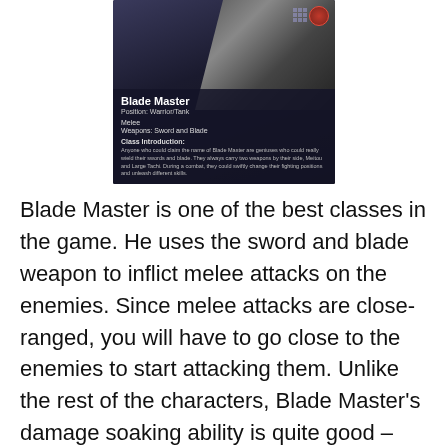[Figure (screenshot): Game card for Blade Master character showing: Position: Warrior/Tank, Melee, Weapons: Sword and Blade, Class Introduction text about Blade Master being geniuses who wield swords and blades, carrying Meitou and Large Tachi weapons.]
Blade Master is one of the best classes in the game. He uses the sword and blade weapon to inflict melee attacks on the enemies. Since melee attacks are close-ranged, you will have to go close to the enemies to start attacking them. Unlike the rest of the characters, Blade Master's damage soaking ability is quite good – thanks to the defensive stats she has.